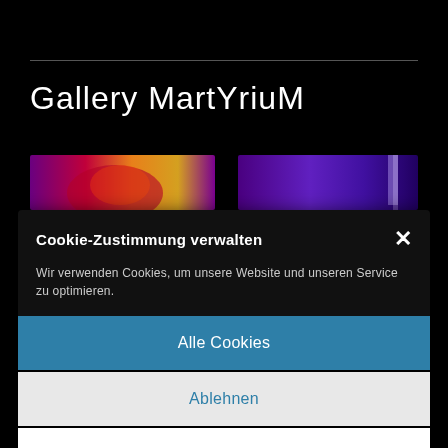Gallery MartYriuM
[Figure (photo): Two image thumbnails from the Gallery MartYriuM website — left thumbnail shows a reddish/purple artistic image, right thumbnail shows a purple/blue artistic image]
Cookie-Zustimmung verwalten
Wir verwenden Cookies, um unsere Website und unseren Service zu optimieren.
Alle Cookies
Ablehnen
Einstellungen anzeigen